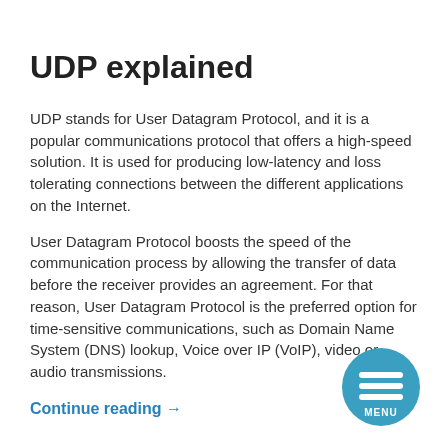UDP explained
UDP stands for User Datagram Protocol, and it is a popular communications protocol that offers a high-speed solution. It is used for producing low-latency and loss tolerating connections between the different applications on the Internet.
User Datagram Protocol boosts the speed of the communication process by allowing the transfer of data before the receiver provides an agreement. For that reason, User Datagram Protocol is the preferred option for time-sensitive communications, such as Domain Name System (DNS) lookup, Voice over IP (VoIP), video or audio transmissions.
Continue reading →
[Figure (illustration): A circular teal/blue menu button with three horizontal white lines and the word MENU below them]